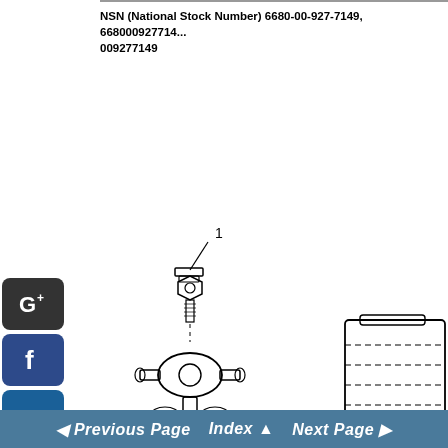NSN (National Stock Number) 6680-00-927-7149, 668000927714... 009277149
[Figure (engineering-diagram): Exploded view engineering diagram showing a valve or fitting component labeled '1' with a threaded connector above and a multi-port valve body below, shown as a line drawing with callout number 1.]
[Figure (engineering-diagram): Partial engineering diagram visible on the right side of the page showing a rectangular device with dashed lines indicating internal components.]
◄ Previous Page  Index ▲  Next Page ►